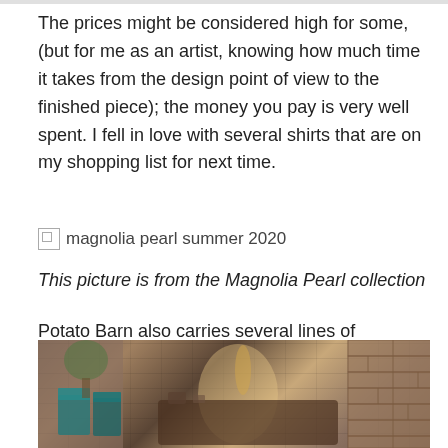The prices might be considered high for some, (but for me as an artist, knowing how much time it takes from the design point of view to the finished piece); the money you pay is very well spent. I fell in love with several shirts that are on my shopping list for next time.
[Figure (photo): Broken image placeholder with alt text 'magnolia pearl summer 2020']
This picture is from the Magnolia Pearl collection
Potato Barn also carries several lines of furniture. John Michael sectionals and sofas, New Dimensions upholstery out of California, and Paul Robert's designs, to name a few.
[Figure (photo): Interior photo showing furniture pieces including chairs and sofas against a brick wall background with warm, earthy tones.]